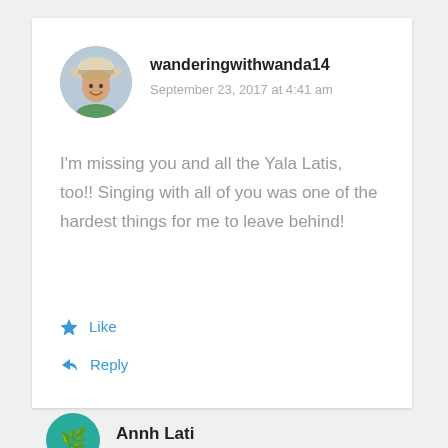[Figure (photo): Circular avatar photo of a woman wearing a white hat, smiling, outdoors]
wanderingwithwanda14
September 23, 2017 at 4:41 am
I'm missing you and all the Yala Latis, too!! Singing with all of you was one of the hardest things for me to leave behind!
Like
Reply
[Figure (logo): Partial circular green logo/avatar at bottom left]
Annh Lati